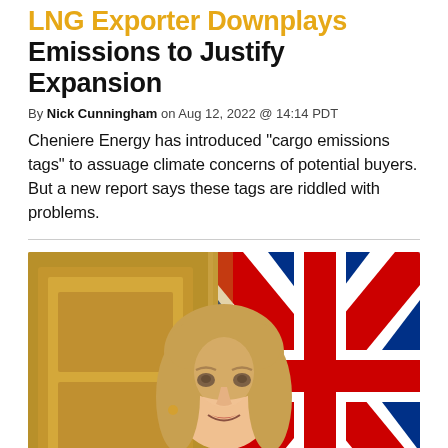LNG Exporter Downplays Emissions to Justify Expansion
By Nick Cunningham on Aug 12, 2022 @ 14:14 PDT
Cheniere Energy has introduced "cargo emissions tags" to assuage climate concerns of potential buyers. But a new report says these tags are riddled with problems.
[Figure (photo): Photograph of a woman with blonde hair wearing a white jacket over a blue shirt, smiling, with a UK Union Jack flag visible in the background and ornate golden decor on the left.]